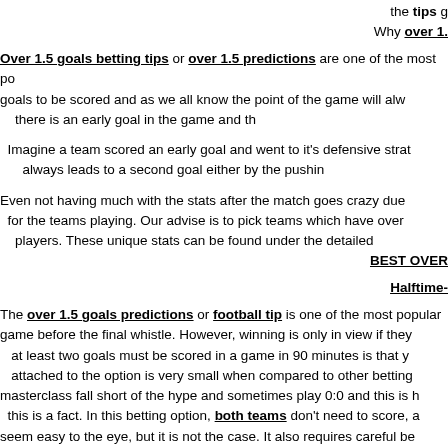the tips g… Why over 1.
Over 1.5 goals betting tips or over 1.5 predictions are one of the most popular… goals to be scored and as we all know the point of the game will always… there is an early goal in the game and th…
Imagine a team scored an early goal and went to it's defensive strat… always leads to a second goal either by the pushin…
Even not having much with the stats after the match goes crazy due… for the teams playing. Our advise is to pick teams which have over… players. These unique stats can be found under the detailed… BEST OVER
Halftime-
The over 1.5 goals predictions or football tip is one of the most popular… game before the final whistle. However, winning is only in view if they… at least two goals must be scored in a game in 90 minutes is that y… attached to the option is very small when compared to other betting… masterclass fall short of the hype and sometimes play 0:0 and this is h… this is a fact. In this betting option, both teams don't need to score, a… seem easy to the eye, but it is not the case. It also requires careful be… games end in goalless draws or with just one goal being scored in th… materializes. However, a scoreline like 0:0 and 1:0 means that the o… This tip is one of the best you can find on any pr…